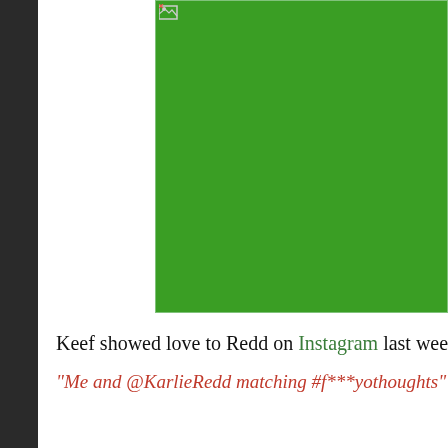[Figure (photo): Green rectangle placeholder image block at top of page, partially visible, with small broken image icon in top-left corner]
Keef showed love to Redd on Instagram last week.
“Me and @KarlieRedd matching #f***yothoughts” he pa
[Figure (photo): Green rectangle placeholder image block at bottom of page, partially visible, with small broken image icon in top-left corner]